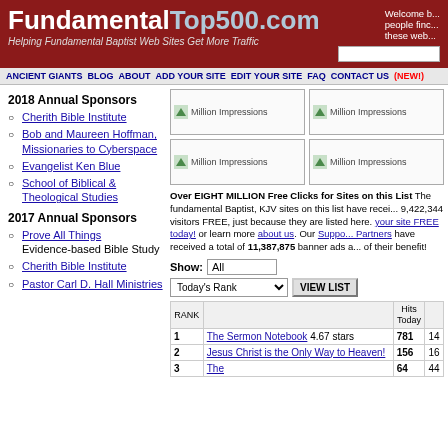FundamentalTop500.com — Helping Fundamental Baptist Web Sites Get More Traffic
Welcome to... people find... these web...
ANCIENT GIANTS  BLOG  ABOUT  ADD YOUR SITE  EDIT YOUR SITE  FAQ  CONTACT US (NEW!)
2018 Annual Sponsors
Cherith Bible Institute
Bob and Maureen Hoffman, Missionaries to Cyberspace
Evangelist Ken Blue
School of Biblical & Theological Studies
2017 Annual Sponsors
Prove All Things — Evidence-based Bible Study
Cherith Bible Institute
Pastor Carl D. Hall Ministries
[Figure (other): Million Impressions banner (top left)]
[Figure (other): Million Impressions banner (top right)]
[Figure (other): Million Impressions banner (bottom left)]
[Figure (other): Million Impressions banner (bottom right)]
Over EIGHT MILLION Free Clicks for Sites on this List. The fundamental Baptist, KJV sites on this list have received 9,422,344 visitors FREE, just because they are listed here. Add your site FREE today! or learn more about us. Our Supporting Partners have received a total of 11,387,875 banner ads as a benefit of their benefit!
| RANK |  | Hits Today |  |
| --- | --- | --- | --- |
| 1 | The Sermon Notebook 4.67 stars | 781 | 14 |
| 2 | Jesus Christ is the Only Way to Heaven! | 156 | 16 |
| 3 | The | 64 | 44 |